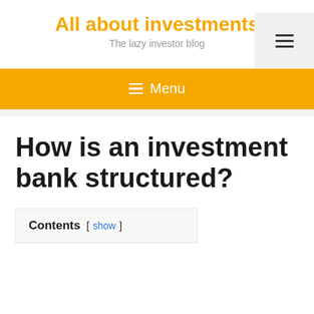All about investments
The lazy investor blog
How is an investment bank structured?
Contents [ show ]